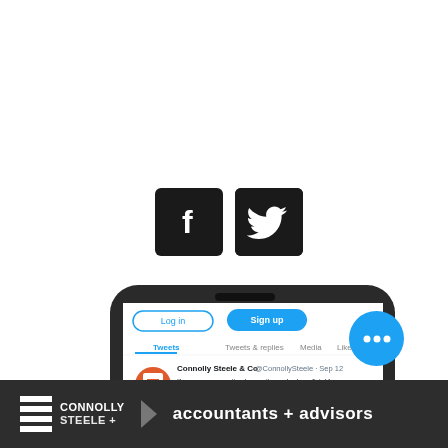[Figure (illustration): Facebook and Twitter social media icons side by side (dark/black square icons with white logos)]
[Figure (screenshot): Smartphone displaying Twitter/X app showing Connolly Steele & Co (@ConnollySteele) tweet from Sep 12 about vacation home rental property tax benefits]
[Figure (logo): Connolly Steele + logo with stacked horizontal lines and text 'CONNOLLY STEELE +' followed by 'accountants + advisors' in dark footer bar]